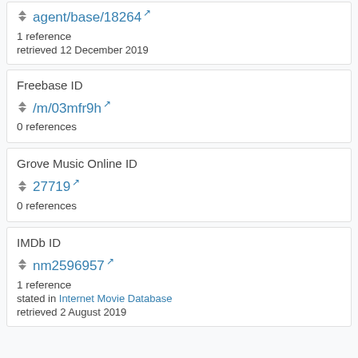agent/base/18264
1 reference
retrieved 12 December 2019
Freebase ID
/m/03mfr9h
0 references
Grove Music Online ID
27719
0 references
IMDb ID
nm2596957
1 reference
stated in Internet Movie Database
retrieved 2 August 2019